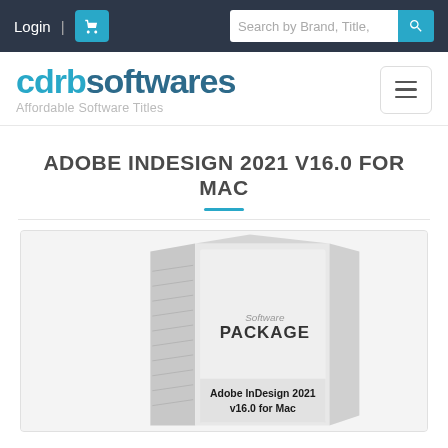Login | [cart] | Search by Brand, Title,  [search]
[Figure (logo): cdrbsoftwares logo with tagline 'Affordable Software Titles' and hamburger menu button]
ADOBE INDESIGN 2021 V16.0 FOR MAC
[Figure (photo): Software package box illustration with text 'Software PACKAGE' and 'Adobe InDesign 2021 v16.0 for Mac']